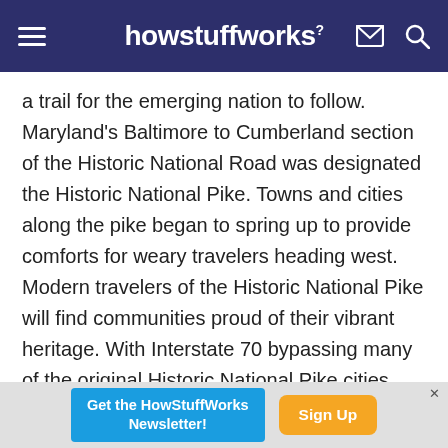howstuffworks
a trail for the emerging nation to follow. Maryland's Baltimore to Cumberland section of the Historic National Road was designated the Historic National Pike. Towns and cities along the pike began to spring up to provide comforts for weary travelers heading west. Modern travelers of the Historic National Pike will find communities proud of their vibrant heritage. With Interstate 70 bypassing many of the original Historic National Pike cities, they have developed into artistic communities with a passion for diversity.
[Figure (other): Advertisement banner: Get the HowStuffWorks Newsletter! with Sign Up button]